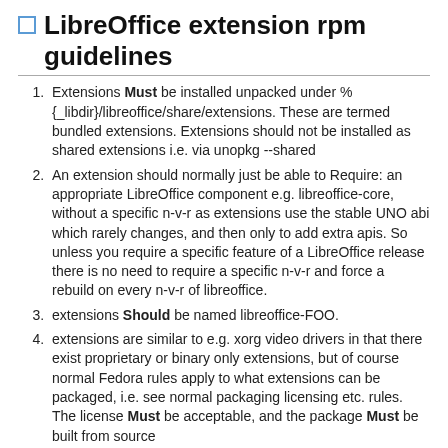LibreOffice extension rpm guidelines
Extensions Must be installed unpacked under %{_libdir}/libreoffice/share/extensions. These are termed bundled extensions. Extensions should not be installed as shared extensions i.e. via unopkg --shared
An extension should normally just be able to Require: an appropriate LibreOffice component e.g. libreoffice-core, without a specific n-v-r as extensions use the stable UNO abi which rarely changes, and then only to add extra apis. So unless you require a specific feature of a LibreOffice release there is no need to require a specific n-v-r and force a rebuild on every n-v-r of libreoffice.
extensions Should be named libreoffice-FOO.
extensions are similar to e.g. xorg video drivers in that there exist proprietary or binary only extensions, but of course normal Fedora rules apply to what extensions can be packaged, i.e. see normal packaging licensing etc. rules. The license Must be acceptable, and the package Must be built from source